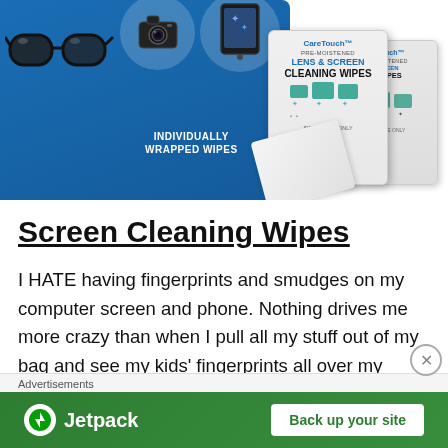[Figure (photo): CareTouch lens and screen cleaning wipes product box with individually wrapped wipes packets shown alongside, on a blue background with icons of glasses, camera, and tablet]
Screen Cleaning Wipes
I HATE having fingerprints and smudges on my computer screen and phone. Nothing drives me more crazy than when I pull all my stuff out of my bag and see my kids' fingerprints all over my
Advertisements
Jetpack  Back up your site